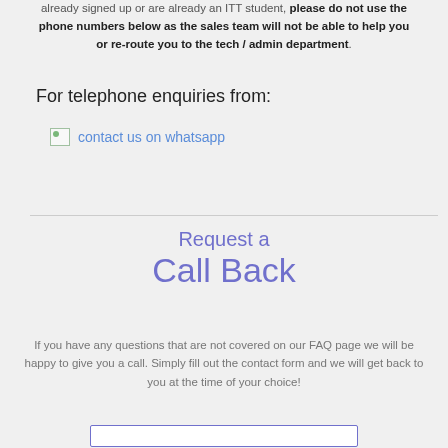already signed up or are already an ITT student, please do not use the phone numbers below as the sales team will not be able to help you or re-route you to the tech / admin department.
For telephone enquiries from:
[Figure (illustration): contact us on whatsapp link/image with broken image icon and blue text label]
Request a Call Back
If you have any questions that are not covered on our FAQ page we will be happy to give you a call. Simply fill out the contact form and we will get back to you at the time of your choice!